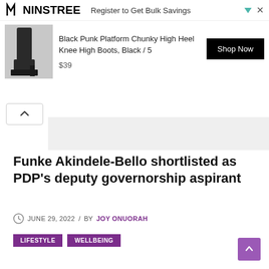[Figure (screenshot): Advertisement banner for Ninstree showing black platform knee-high boots with price $39 and Shop Now button]
Funke Akindele-Bello shortlisted as PDP’s deputy governorship aspirant
JUNE 29, 2022 / BY JOY ONUORAH
LIFESTYLE
WELLBEING